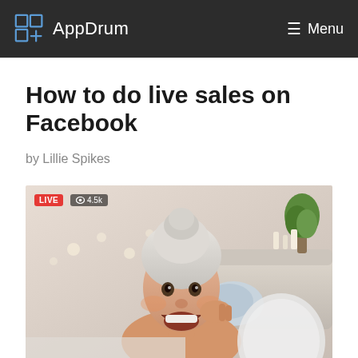AppDrum — Menu
How to do live sales on Facebook
by Lillie Spikes
[Figure (photo): A woman with a white towel wrapped around her head smiling and touching her face, shown in a Facebook Live video overlay with LIVE badge and 4.5k viewers indicator, taken in a bright living room setting.]